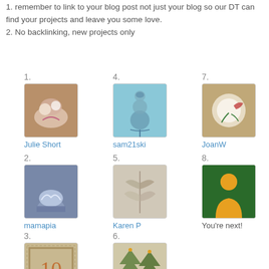1. remember to link to your blog post not just your blog so our DT can find your projects and leave you some love.
2. No backlinking, new projects only
[Figure (photo): Thumbnail 1 - floral craft project]
Julie Short
[Figure (photo): Thumbnail 4 - snowman stamp]
sam21ski
[Figure (photo): Thumbnail 7 - floral card]
JoanW
[Figure (photo): Thumbnail 2 - ice skate card]
mamapia
[Figure (photo): Thumbnail 5 - botanical stamp]
Karen P
[Figure (photo): Thumbnail 8 - placeholder silhouette]
You're next!
[Figure (photo): Thumbnail 3 - patterned tile]
Kym
[Figure (photo): Thumbnail 6 - christmas trees]
Karen P